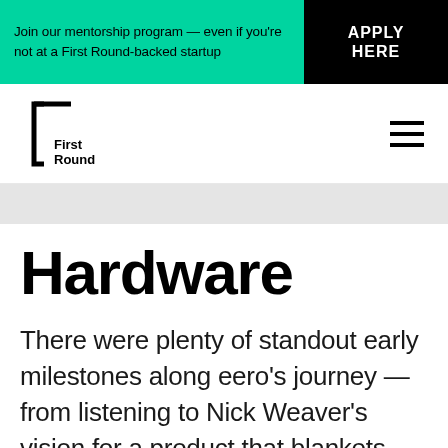Join our mentorship program — even if you're not at a First Round-backed startup | APPLY HERE
[Figure (logo): First Round Capital logo — bracket symbol with 'First Round' text]
Hardware
There were plenty of standout early milestones along eero's journey — from listening to Nick Weaver's vision for a product that blankets homes with fast, reliable internet, to signing